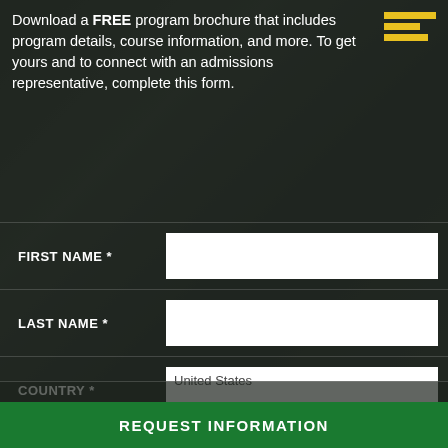Download a FREE program brochure that includes program details, course information, and more. To get yours and to connect with an admissions representative, complete this form.
FIRST NAME *
LAST NAME *
COUNTRY * [United States]
STATE *
EMAIL *
PHONE *
REQUEST INFORMATION